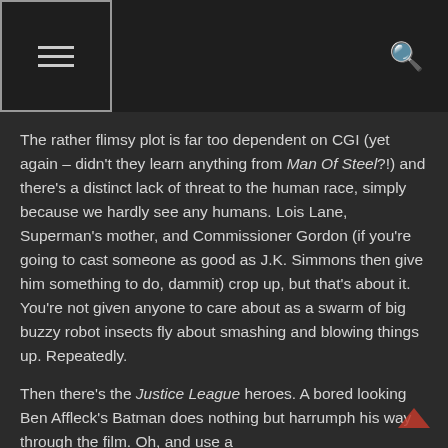≡  🔍
The rather flimsy plot is far too dependent on CGI (yet again – didn't they learn anything from Man Of Steel?!) and there's a distinct lack of threat to the human race, simply because we hardly see any humans. Lois Lane, Superman's mother, and Commissioner Gordon (if you're going to cast someone as good as J.K. Simmons then give him something to do, dammit) crop up, but that's about it. You're not given anyone to care about as a swarm of big buzzy robot insects fly about smashing and blowing things up. Repeatedly.
Then there's the Justice League heroes. A bored looking Ben Affleck's Batman does nothing but harrumph his way through the film. Oh, and use a